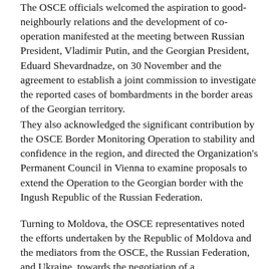The OSCE officials welcomed the aspiration to good-neighbourly relations and the development of co-operation manifested at the meeting between Russian President, Vladimir Putin, and the Georgian President, Eduard Shevardnadze, on 30 November and the agreement to establish a joint commission to investigate the reported cases of bombardments in the border areas of the Georgian territory.
They also acknowledged the significant contribution by the OSCE Border Monitoring Operation to stability and confidence in the region, and directed the Organization's Permanent Council in Vienna to examine proposals to extend the Operation to the Georgian border with the Ingush Republic of the Russian Federation.
Turning to Moldova, the OSCE representatives noted the efforts undertaken by the Republic of Moldova and the mediators from the OSCE, the Russian Federation, and Ukraine, towards the negotiation of a comprehensive political settlement of the